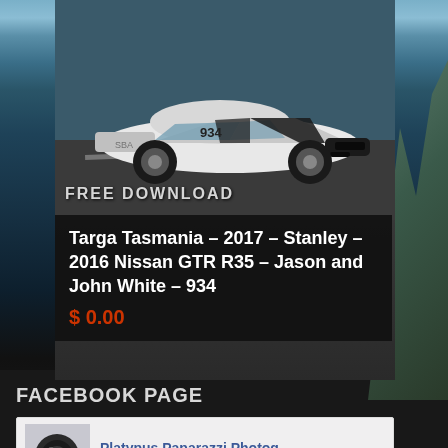[Figure (photo): White Nissan GTR R35 race car with number 934 on a road course, with mountain scenery in background. FREE DOWNLOAD watermark text visible.]
Targa Tasmania – 2017 – Stanley – 2016 Nissan GTR R35 – Jason and John White – 934
$ 0.00
FACEBOOK PAGE
Platypus Paparazzi Photog…
93 likes